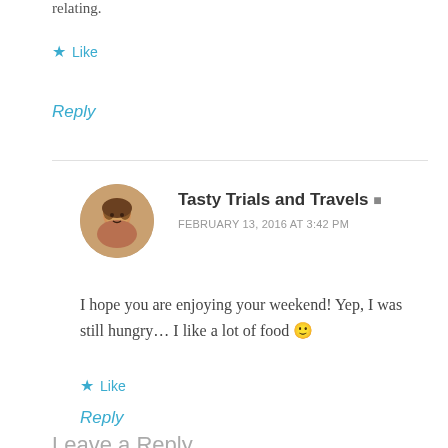relating.
★ Like
Reply
Tasty Trials and Travels ▲
FEBRUARY 13, 2016 AT 3:42 PM
I hope you are enjoying your weekend! Yep, I was still hungry... I like a lot of food 🙂
★ Like
Reply
Leave a Reply